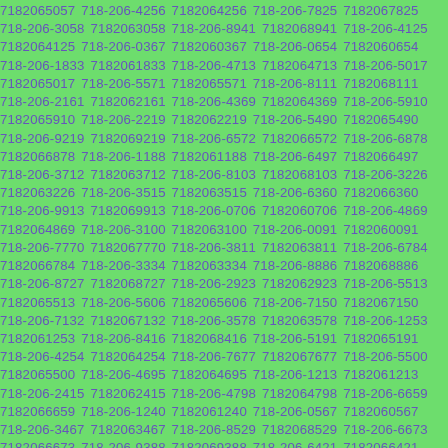7182065057 718-206-4256 7182064256 718-206-7825 7182067825 718-206-3058 7182063058 718-206-8941 7182068941 718-206-4125 7182064125 718-206-0367 7182060367 718-206-0654 7182060654 718-206-1833 7182061833 718-206-4713 7182064713 718-206-5017 7182065017 718-206-5571 7182065571 718-206-8111 7182068111 718-206-2161 7182062161 718-206-4369 7182064369 718-206-5910 7182065910 718-206-2219 7182062219 718-206-5490 7182065490 718-206-9219 7182069219 718-206-6572 7182066572 718-206-6878 7182066878 718-206-1188 7182061188 718-206-6497 7182066497 718-206-3712 7182063712 718-206-8103 7182068103 718-206-3226 7182063226 718-206-3515 7182063515 718-206-6360 7182066360 718-206-9913 7182069913 718-206-0706 7182060706 718-206-4869 7182064869 718-206-3100 7182063100 718-206-0091 7182060091 718-206-7770 7182067770 718-206-3811 7182063811 718-206-6784 7182066784 718-206-3334 7182063334 718-206-8886 7182068886 718-206-8727 7182068727 718-206-2923 7182062923 718-206-5513 7182065513 718-206-5606 7182065606 718-206-7150 7182067150 718-206-7132 7182067132 718-206-3578 7182063578 718-206-1253 7182061253 718-206-8416 7182068416 718-206-5191 7182065191 718-206-4254 7182064254 718-206-7677 7182067677 718-206-5500 7182065500 718-206-4695 7182064695 718-206-1213 7182061213 718-206-2415 7182062415 718-206-4798 7182064798 718-206-6659 7182066659 718-206-1240 7182061240 718-206-0567 7182060567 718-206-3467 7182063467 718-206-8529 7182068529 718-206-6673 7182066673 718-206-9388 7182069388 718-206-6421 7182066421 718-206-4062 7182064062 718-206-6117 7182066117 718-206-